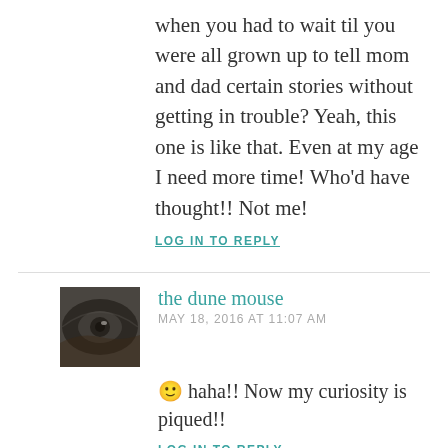when you had to wait til you were all grown up to tell mom and dad certain stories without getting in trouble? Yeah, this one is like that. Even at my age I need more time! Who'd have thought!! Not me!
LOG IN TO REPLY
the dune mouse
MAY 18, 2016 AT 11:07 AM
🙂 haha!! Now my curiosity is piqued!!
LOG IN TO REPLY
Lynz Real Cooking